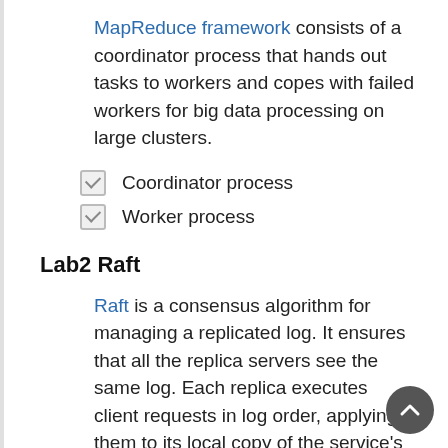MapReduce framework consists of a coordinator process that hands out tasks to workers and copes with failed workers for big data processing on large clusters.
Coordinator process
Worker process
Lab2 Raft
Raft is a consensus algorithm for managing a replicated log. It ensures that all the replica servers see the same log. Each replica executes client requests in log order, applying them to its local copy of the service's state. If a server fails but later recovers, Raft takes care of bringing its log up to date. Raft will continue to operate as long as at least a majority of the servers are alive and can talk to each other. If